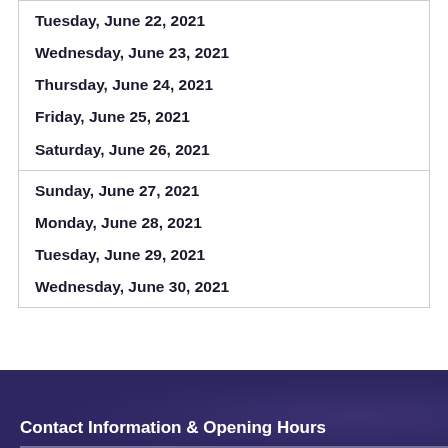Tuesday, June 22, 2021
Wednesday, June 23, 2021
Thursday, June 24, 2021
Friday, June 25, 2021
Saturday, June 26, 2021
Sunday, June 27, 2021
Monday, June 28, 2021
Tuesday, June 29, 2021
Wednesday, June 30, 2021
JUN 2021
Contact Information & Opening Hours